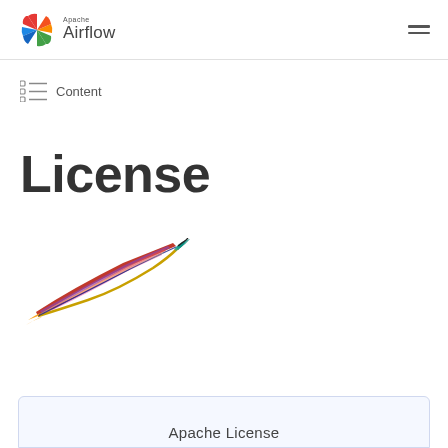Apache Airflow
Content
License
[Figure (illustration): Apache feather logo — a colorful red, purple, and gold feather with black quill tip and teal barbs at the top]
Apache License